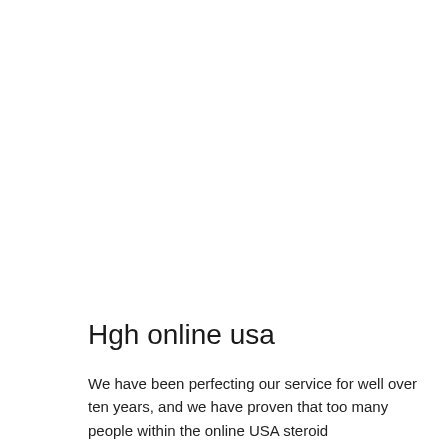Hgh online usa
We have been perfecting our service for well over ten years, and we have proven that too many people within the online USA steroid communitylack this knowledge.